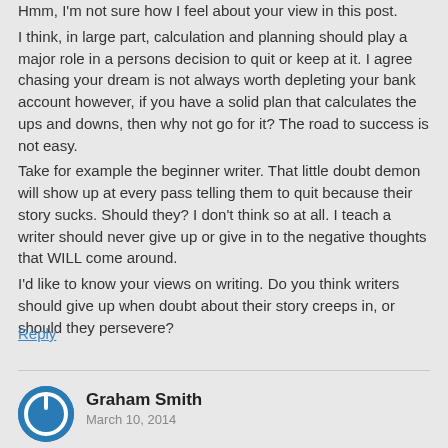Hmm, I'm not sure how I feel about your view in this post.
I think, in large part, calculation and planning should play a major role in a persons decision to quit or keep at it. I agree chasing your dream is not always worth depleting your bank account however, if you have a solid plan that calculates the ups and downs, then why not go for it? The road to success is not easy.
Take for example the beginner writer. That little doubt demon will show up at every pass telling them to quit because their story sucks. Should they? I don't think so at all. I teach a writer should never give up or give in to the negative thoughts that WILL come around.
I'd like to know your views on writing. Do you think writers should give up when doubt about their story creeps in, or should they persevere?
Reply
Graham Smith
March 10, 2014